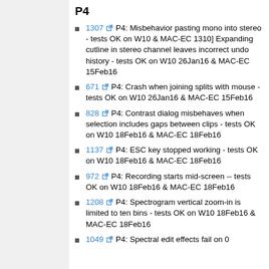P4
1307 P4: Misbehavior pasting mono into stereo - tests OK on W10 & MAC-EC 1310] Expanding cutline in stereo channel leaves incorrect undo history - tests OK on W10 26Jan16 & MAC-EC 15Feb16
671 P4: Crash when joining splits with mouse - tests OK on W10 26Jan16 & MAC-EC 15Feb16
828 P4: Contrast dialog misbehaves when selection includes gaps between clips - tests OK on W10 18Feb16 & MAC-EC 18Feb16
1137 P4: ESC key stopped working - tests OK on W10 18Feb16 & MAC-EC 18Feb16
972 P4: Recording starts mid-screen -- tests OK on W10 18Feb16 & MAC-EC 18Feb16
1208 P4: Spectrogram vertical zoom-in is limited to ten bins - tests OK on W10 18Feb16 & MAC-EC 18Feb16
1049 P4: Spectral edit effects fail on 0